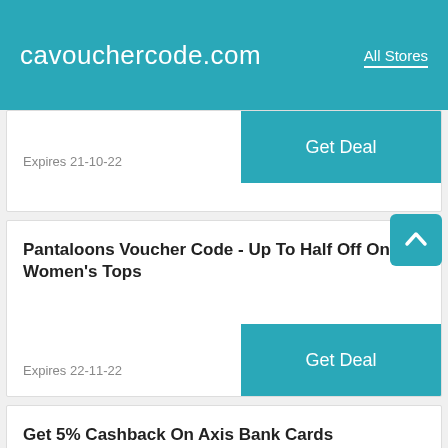cavouchercode.com — All Stores
Expires 21-10-22
Get Deal
Pantaloons Voucher Code - Up To Half Off On Women's Tops
Expires 22-11-22
Get Deal
Get 5% Cashback On Axis Bank Cards
Expires 22-11-22
Get Deal